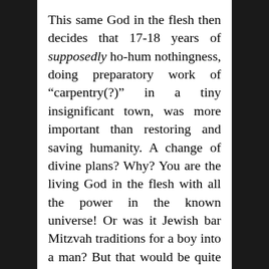This same God in the flesh then decides that 17-18 years of supposedly ho-hum nothingness, doing preparatory work of "carpentry(?)" in a tiny insignificant town, was more important than restoring and saving humanity. A change of divine plans? Why? You are the living God in the flesh with all the power in the known universe! Or was it Jewish bar Mitzvah traditions for a boy into a man? But that would be quite human, quite Jewish, and quite